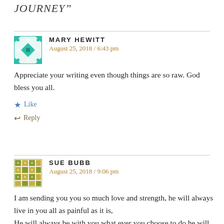JOURNEY”
MARY HEWITT
August 25, 2018 / 6:43 pm
Appreciate your writing even though things are so raw. God bless you all.
Like
Reply
SUE BUBB
August 25, 2018 / 9:06 pm
I am sending you you so much love and strength, he will always live in you all as painful as it is,
He will always be with you what ever you choose to do he will be there approving and helping guiding you whatever you do,